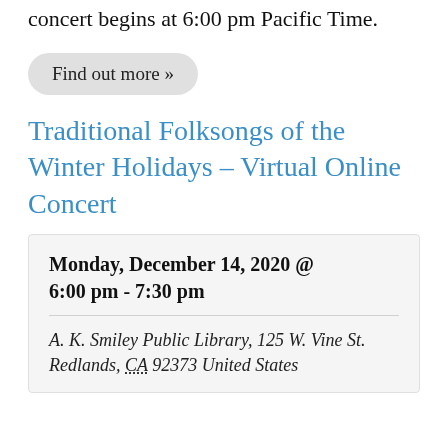concert begins at 6:00 pm Pacific Time.
Find out more »
Traditional Folksongs of the Winter Holidays – Virtual Online Concert
Monday, December 14, 2020 @ 6:00 pm - 7:30 pm
A. K. Smiley Public Library, 125 W. Vine St.
Redlands, CA 92373 United States